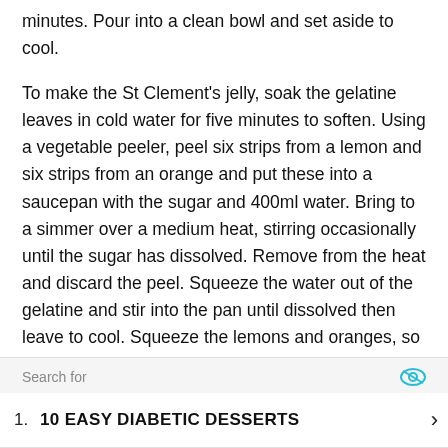minutes. Pour into a clean bowl and set aside to cool.
To make the St Clement's jelly, soak the gelatine leaves in cold water for five minutes to soften. Using a vegetable peeler, peel six strips from a lemon and six strips from an orange and put these into a saucepan with the sugar and 400ml water. Bring to a simmer over a medium heat, stirring occasionally until the sugar has dissolved. Remove from the heat and discard the peel. Squeeze the water out of the gelatine and stir into the pan until dissolved then leave to cool. Squeeze the lemons and oranges, so you have 150ml of both lemon and orange juice. Stir into the pan then strain the jelly through a fine sieve into a jug and chill until cool but not set.
Search for
To mal  1.  10 EASY DIABETIC DESSERTS  >  ver a
gentle  ally
with a  Yahoo! Search | Sponsored  g